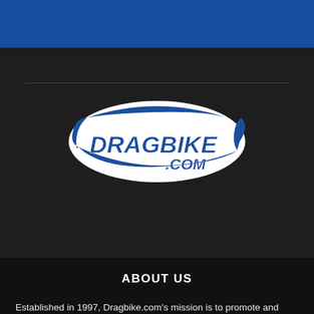[Figure (logo): www.DRAGBIKE.COM logo — white oval shape with blue swoosh accent and bold blue/white lettering reading 'www.' above 'DRAGBIKE' and '.COM']
ABOUT US
Established in 1997, Dragbike.com's mission is to promote and grow the sport of Motorcycle Drag Racing worldwide. We present the sport to a wide audience in a professional manner, utilizing multiple contributors and posting content in a timely, accessible and entertaining format.